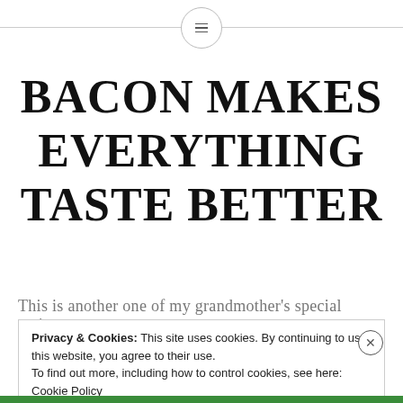BACON MAKES EVERYTHING TASTE BETTER
This is another one of my grandmother's special recipes.
Privacy & Cookies: This site uses cookies. By continuing to use this website, you agree to their use.
To find out more, including how to control cookies, see here: Cookie Policy

Close and accept